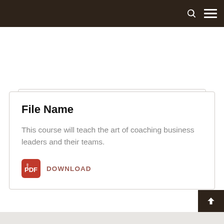Search Here...
File Name
This course will teach the art of coaching business leaders and their teams.
DOWNLOAD